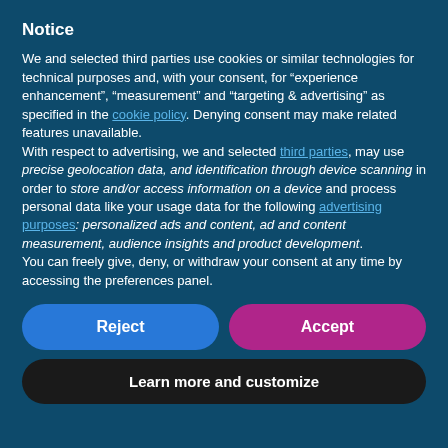Notice
We and selected third parties use cookies or similar technologies for technical purposes and, with your consent, for “experience enhancement”, “measurement” and “targeting & advertising” as specified in the cookie policy. Denying consent may make related features unavailable.
With respect to advertising, we and selected third parties, may use precise geolocation data, and identification through device scanning in order to store and/or access information on a device and process personal data like your usage data for the following advertising purposes: personalized ads and content, ad and content measurement, audience insights and product development.
You can freely give, deny, or withdraw your consent at any time by accessing the preferences panel.
Reject
Accept
Learn more and customize